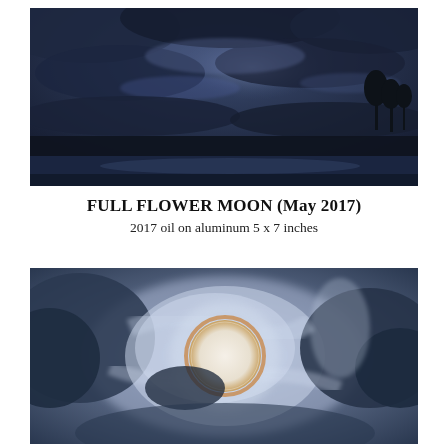[Figure (illustration): Painting of a stormy dark blue seascape at night with dramatic clouds and a calm dark water horizon, oil on aluminum]
FULL FLOWER MOON (May 2017)
2017 oil on aluminum 5 x 7 inches
[Figure (illustration): Painting of swirling blue-grey storm clouds surrounding a circular glowing pale moon with an orange ring, viewed from above or looking up through clouds, oil painting]